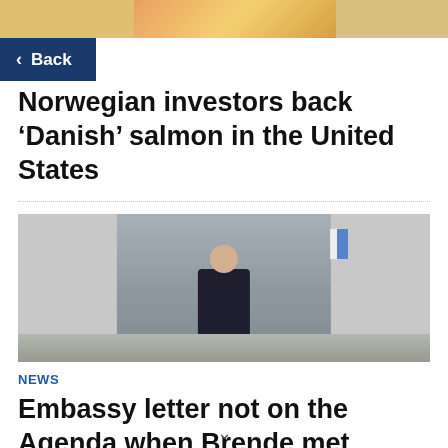[Figure (photo): Partial top image of salmon/fish, cropped]
Back
Norwegian investors back ‘Danish’ salmon in the United States
[Figure (photo): Man in dark suit smiling, walking outdoors near flagpole]
NEWS
Embassy letter not on the Agenda when Brende met Lavrov